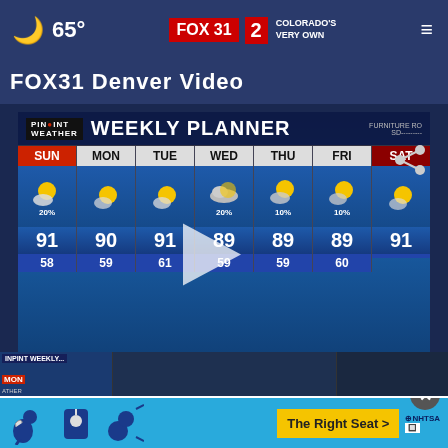🌙 65°  FOX 31  2  COLORADO'S VERY OWN  ≡
FOX31 Denver Video
[Figure (screenshot): FOX31 Pinpoint Weather Weekly Planner showing 7-day forecast for Denver. SUN: 20%, 91/58; MON: 90/59; TUE: 91/61; WED: 20%, 89/59; THU: 10%, 89/59; FRI: 10%, 89/60; SAT: 91]
[Figure (screenshot): Bottom advertisement bar: NHTSA child safety seat ad with text 'The Right Seat >' and close X button]